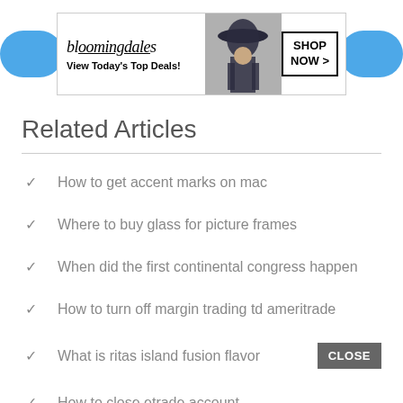[Figure (screenshot): Bloomingdale's banner advertisement with text 'View Today's Top Deals!' and 'SHOP NOW >' button, flanked by blue pill-shaped elements on either side]
Related Articles
How to get accent marks on mac
Where to buy glass for picture frames
When did the first continental congress happen
How to turn off margin trading td ameritrade
What is ritas island fusion flavor
How to close etrade account